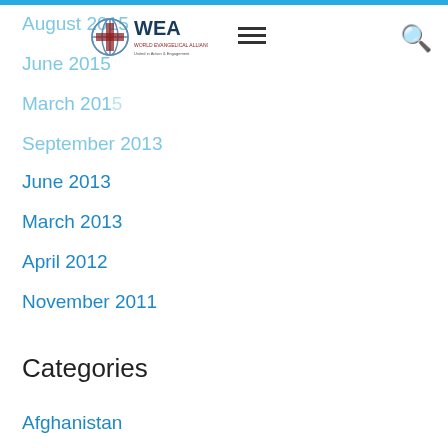August 2015
June 2015
March 2015
September 2013
June 2013
March 2013
April 2012
November 2011
Categories
Afghanistan
Algeria
Argentina